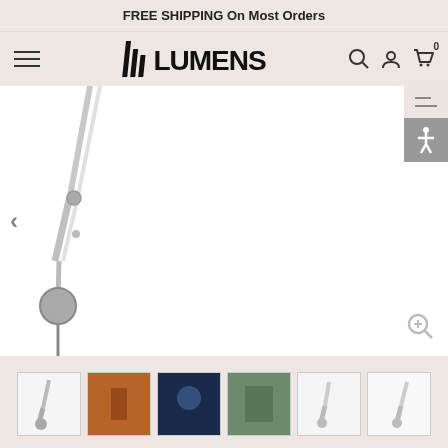FREE SHIPPING On Most Orders
[Figure (logo): Lumens lighting website logo with hamburger menu, search, account, and cart icons]
[Figure (photo): Chrome/polished wall-mount adjustable arm lamp (Tolomeo style) shown in white background product photo with left navigation arrow]
[Figure (photo): Thumbnail strip with 6 product thumbnails showing various views of the lamp]